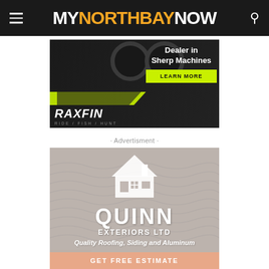MY NORTH BAY NOW
[Figure (advertisement): Raxfin advertisement - Dealer in Sherp Machines, with Learn More button. Dark background with gear imagery and yellow chevron stripes. Tagline: RIDE / FISH / HUNT]
· Advertisment ·
[Figure (advertisement): Quinn Exteriors Ltd advertisement. Grey/beige background with house logo icon. Text: QUINN EXTERIORS LTD, Quality Roofing, Siding and Aluminum. Bottom salmon-colored strip with GET FREE ESTIMATE text.]